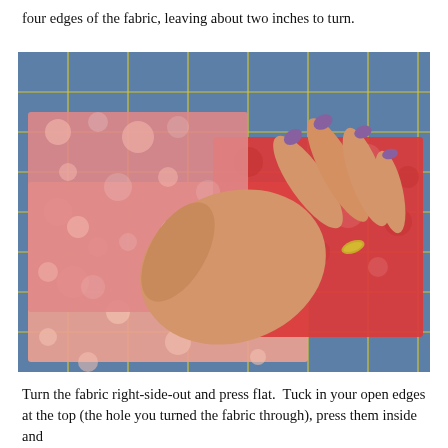four edges of the fabric, leaving about two inches to turn.
[Figure (photo): A hand with purple nail polish and a gold ring is folding/turning red and pink patterned fabric on a blue cutting mat with yellow grid lines.]
Turn the fabric right-side-out and press flat.  Tuck in your open edges at the top (the hole you turned the fabric through), press them inside and